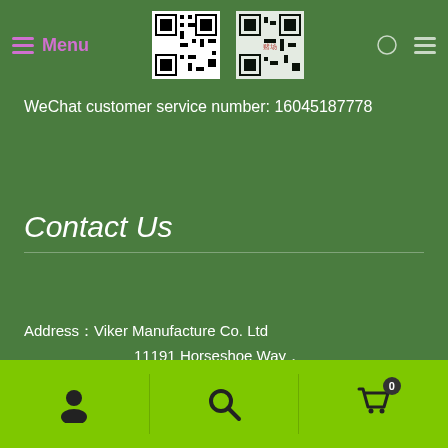[Figure (screenshot): QR codes and logo at the top of the page]
WeChat customer service number: 16045187778
Contact Us
Address：Viker Manufacture Co. Ltd
11191 Horseshoe Way，
Unit 3 Richmond BC V7A 4S5
Phone：1-888-518-7778 (Toll free number)
1-604-518-7778 (24小时)
1-604-303-7722 (9 Am - 5 Pm)
User icon | Search icon | Cart (0)